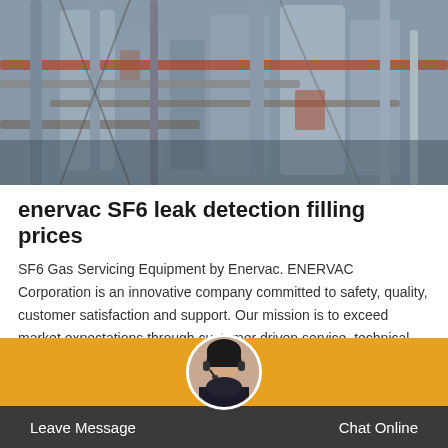[Figure (photo): Industrial plant with large pipes, tanks, scaffolding and metal structures, photographed from below looking up.]
enervac SF6 leak detection filling prices
SF6 Gas Servicing Equipment by Enervac. ENERVAC Corporation is an innovative company committed to safety, quality, customer satisfaction and support. Our mission is to exceed market expectations through customer driven service, technical expertise and innovative solutions.
Leave Message   Chat Online